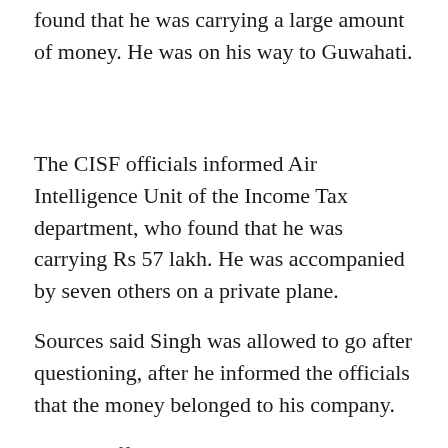found that he was carrying a large amount of money. He was on his way to Guwahati.
The CISF officials informed Air Intelligence Unit of the Income Tax department, who found that he was carrying Rs 57 lakh. He was accompanied by seven others on a private plane.
Sources said Singh was allowed to go after questioning, after he informed the officials that the money belonged to his company.
Airport officials have stepped up checking after the